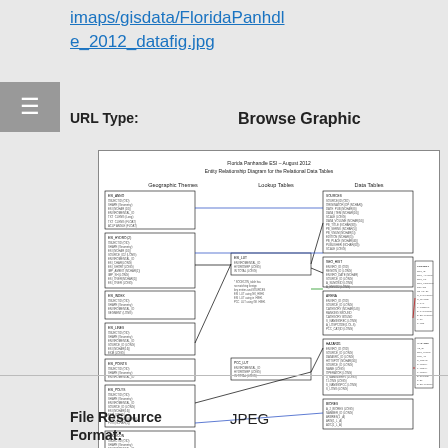imaps/gisdata/FloridaPanhandle_2012_datafig.jpg
URL Type: Browse Graphic
[Figure (engineering-diagram): Entity Relationship Diagram for the Relational Data Tables for Florida Panhandle ESI August 2012, showing Geographic Themes, Lookup Tables, and Data Tables with connecting lines.]
File Resource Format: JPEG